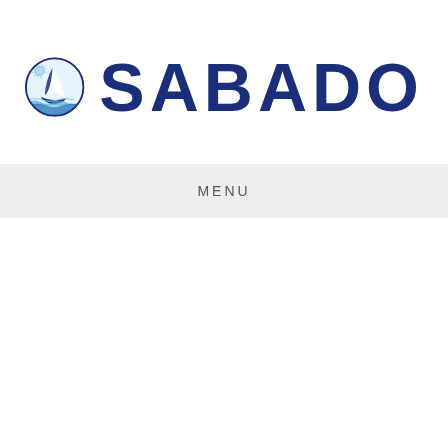[Figure (logo): SABADO company logo: circular nautical emblem with sailboat, waves, and sunburst in light blue and dark navy blue, followed by the text SABADO in large bold dark navy letters]
MENU